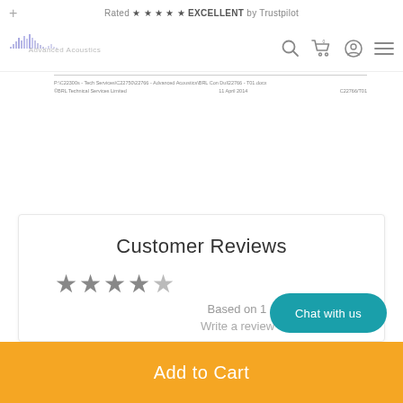Rated ★★★★★ EXCELLENT by Trustpilot
[Figure (logo): Advanced Acoustics logo with waveform graphic]
P:\C22300s - Tech Services\C22750\22766 - Advanced Acoustics\BRL Con Dull22766 - T01.docx
©BRL Technical Services Limited    11 April 2014    C22766/T01
Customer Reviews
★★★★☆
Based on 1 review
Write a review
Chat with us
Add to Cart